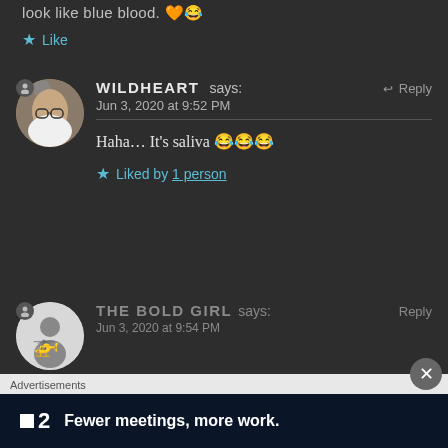look like blue blood. 🧡😂
★ Like
WILDHEART says: Jun 3, 2020 at 9:52 PM — Haha… It's saliva 😂😂😂
★ Liked by 1 person
THE BOLD GIRL says: Reply Jun 3, 2020 at 9:54 PM
Advertisements — Fewer meetings, more work.